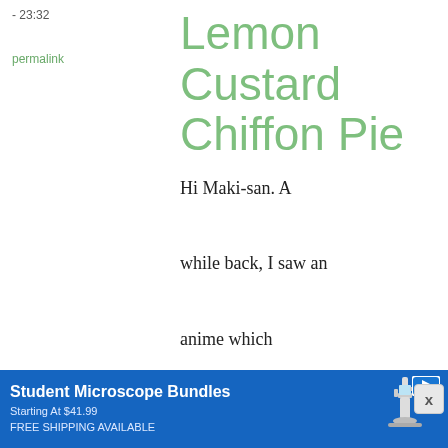- 23:32
permalink
Lemon Custard Chiffon Pie
Hi Maki-san. A while back, I saw an anime which mentioned making a "Cheese Lemon Custard Chiffon Pie" (チーズレモンカスタードシフォンパイ). There are no
[Figure (screenshot): Blue advertisement banner for Student Microscope Bundles, Starting At $41.99, FREE SHIPPING AVAILABLE, with microscope image on the right]